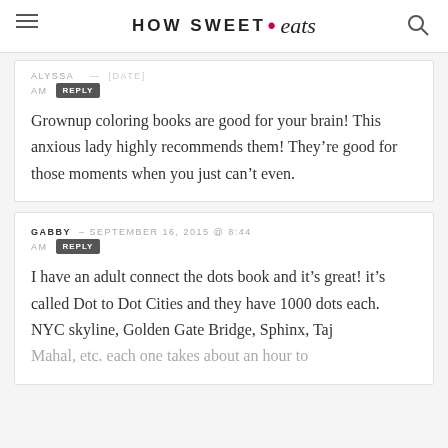HOW SWEET • eats
ALYSSA – [date] AM REPLY
Grownup coloring books are good for your brain! This anxious lady highly recommends them! They're good for those moments when you just can't even.
GABBY – SEPTEMBER 16, 2015 @ 8:44 AM REPLY
I have an adult connect the dots book and it's great! it's called Dot to Dot Cities and they have 1000 dots each. NYC skyline, Golden Gate Bridge, Sphinx, Taj Mahal, etc. each one takes about an hour to